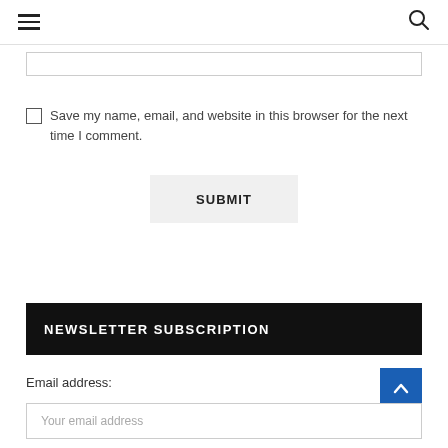≡  🔍
Save my name, email, and website in this browser for the next time I comment.
SUBMIT
NEWSLETTER SUBSCRIPTION
Email address:
Your email address